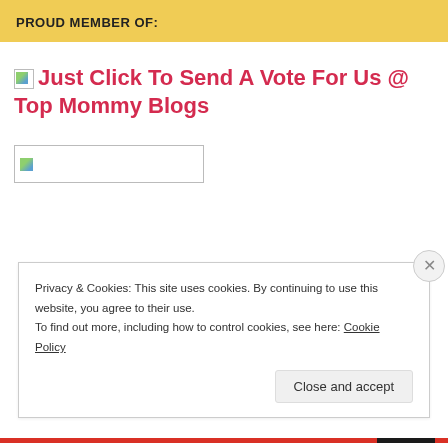PROUD MEMBER OF:
[Figure (illustration): Broken image placeholder followed by red link text: Just Click To Send A Vote For Us @ Top Mommy Blogs]
[Figure (illustration): Broken image placeholder with empty box outline]
Privacy & Cookies: This site uses cookies. By continuing to use this website, you agree to their use.
To find out more, including how to control cookies, see here: Cookie Policy
Close and accept